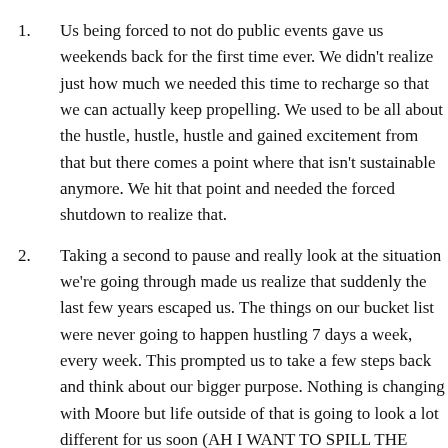Us being forced to not do public events gave us weekends back for the first time ever. We didn't realize just how much we needed this time to recharge so that we can actually keep propelling. We used to be all about the hustle, hustle, hustle and gained excitement from that but there comes a point where that isn't sustainable anymore. We hit that point and needed the forced shutdown to realize that.
Taking a second to pause and really look at the situation we're going through made us realize that suddenly the last few years escaped us. The things on our bucket list were never going to happen hustling 7 days a week, every week. This prompted us to take a few steps back and think about our bigger purpose. Nothing is changing with Moore but life outside of that is going to look a lot different for us soon (AH I WANT TO SPILL THE BEANS BUT I WON'T).
This shit storm of the past 6 months has literally made me cry looking at how our community that we've worked so hard to build around us. When we look at the...